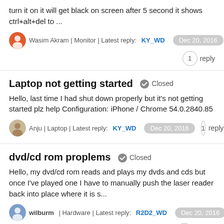turn it on it will get black on screen after 5 second it shows ctrl+alt+del to ...
Wasim Akram | Monitor | Latest reply: KY_WD  Dec 20, 2016
1 reply
Laptop not getting started  Closed
Hello, last time I had shut down properly but it's not getting started plz help Configuration: iPhone / Chrome 54.0.2840.85
Anju | Laptop | Latest reply: KY_WD  Dec 20, 2016
1 reply
dvd/cd rom proplems  Closed
Hello, my dvd/cd rom reads and plays my dvds and cds but once I've played one I have to manually push the laser reader back into place where it is s...
wilburm | Hardware | Latest reply: R2D2_WD  Dec 20, 2016
3 replies
Toshiba laptop, satellite turns off by itself  Closed
hello... if i turn on my computer, then turns off by itself even if plugged in... what is the problem? I did notice that it says where battery